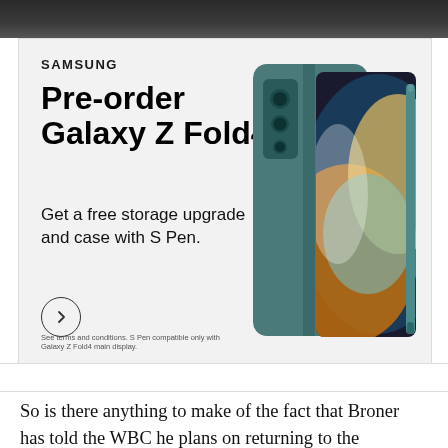[Figure (photo): Dark photo strip at top of page]
[Figure (infographic): Samsung advertisement for Galaxy Z Fold4 pre-order. Text reads: SAMSUNG. Pre-order Galaxy Z Fold4. Get a free storage upgrade and case with S Pen. Circle arrow button. Fine print: See terms and conditions. S Pen compatible only with Galaxy Z Fold4 main display. Photo of teal Galaxy Z Fold4 phone with case and S Pen stylus on right side.]
POWERED BY CONCERT   FEEDBACK
So is there anything to make of the fact that Broner has told the WBC he plans on returning to the lightweight division after the fight? Is it really in the cards or not? If